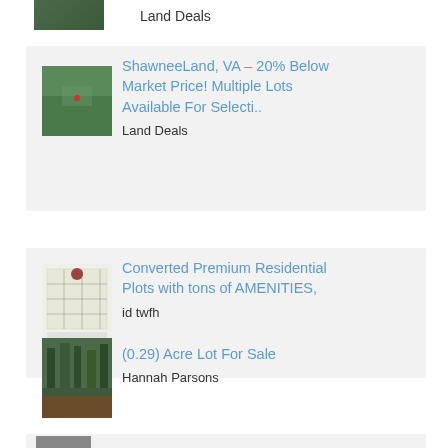Land Deals
[Figure (photo): Aerial satellite image of a land parcel]
ShawneeLand, VA – 20% Below Market Price! Multiple Lots Available For Selecti..
Land Deals
[Figure (photo): Site plan / layout map of residential plots]
Converted Premium Residential Plots with tons of AMENITIES,
id twfh
[Figure (photo): Forest/wooded lot photo]
(0.29) Acre Lot For Sale
Hannah Parsons
[Figure (photo): Partial thumbnail of another listing]